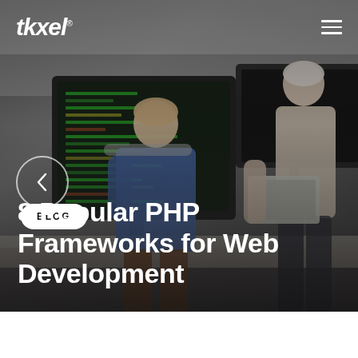[Figure (photo): Hero image of two people working at a desk with computer monitors displaying code in a dark office environment. One person is seated facing a large monitor, another is standing holding a laptop. Dark overlay applied over the photo.]
tkxel®
BLOG
8 Popular PHP Frameworks for Web Development